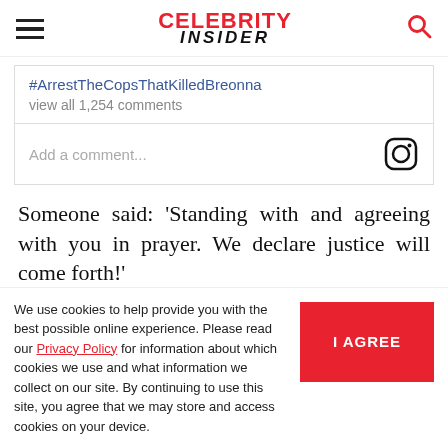CELEBRITY INSIDER
#ArrestTheCopsThatKilledBreonna
view all 1,254 comments
Add a comment...
Someone said: 'Standing with and agreeing with you in prayer. We declare justice will come forth!'
We use cookies to help provide you with the best possible online experience. Please read our Privacy Policy for information about which cookies we use and what information we collect on our site. By continuing to use this site, you agree that we may store and access cookies on your device.